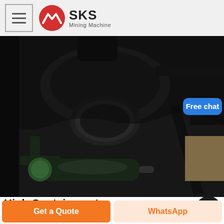SKS Mining Machine
[Figure (photo): Close-up photo of heavy industrial mining machinery components, showing dark metal hydraulic or mechanical parts, a cylindrical component with green end cap, brackets, and structural frame elements against a light background.]
High Containment Pharmaceutical Roll Compactors
Get a Quote
WhatsApp